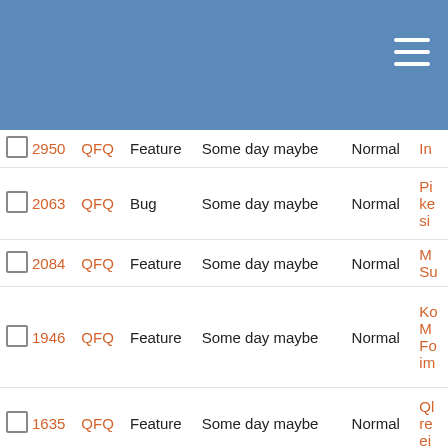|  | # | Project | Type | Milestone | Priority | Description |
| --- | --- | --- | --- | --- | --- | --- |
| ☐ | 2950 | QFQ | Feature | Some day maybe | Normal | In... |
| ☐ | 2063 | QFQ | Bug | Some day maybe | Normal | Pi ke si... |
| ☐ | 2084 | QFQ | Feature | Some day maybe | Normal | M Su... |
| ☐ | 1946 | QFQ | Feature | Some day maybe | Normal | Ko M Fo im... |
| ☐ | 1635 | QFQ | Feature | Some day maybe | Normal | Ql re ei... |
| ☐ | 1623 | QFQ | Feature | Some day maybe | Normal | Re... |
| ☐ | 1510 | QFQ | Feature | Some day maybe | Normal | jq fa... |
| ☐ | 1253 | QFQ | Feature | Some day maybe | Normal | Ql... |
| ☐ | 1251 | QFQ | Feature | Some day maybe | Normal | Ql... |
| ☐ | 4293 | QFQ | Bug | Some day maybe | Normal | Do 'd: m... |